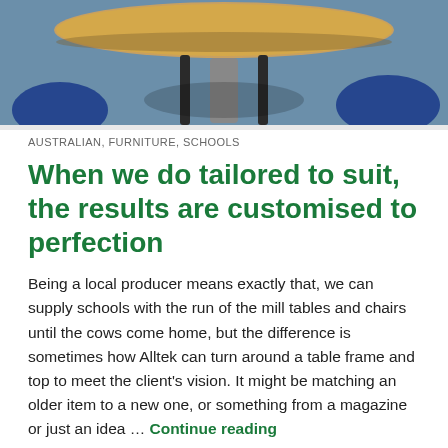[Figure (photo): Top-down view of a round wooden table with dark metal legs and blue chairs, against a blue-grey carpet background]
AUSTRALIAN, FURNITURE, SCHOOLS
When we do tailored to suit, the results are customised to perfection
Being a local producer means exactly that, we can supply schools with the run of the mill tables and chairs until the cows come home, but the difference is sometimes how Alltek can turn around a table frame and top to meet the client's vision. It might be matching an older item to a new one, or something from a magazine or just an idea … Continue reading
08/02/2022